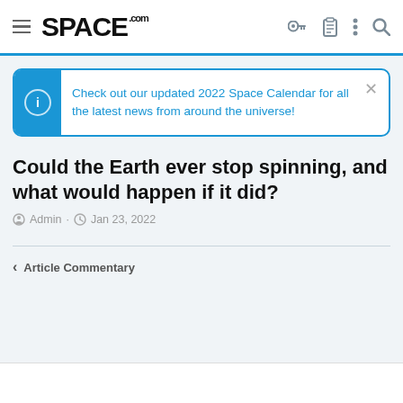SPACE.com
Check out our updated 2022 Space Calendar for all the latest news from around the universe!
Could the Earth ever stop spinning, and what would happen if it did?
Admin · Jan 23, 2022
< Article Commentary